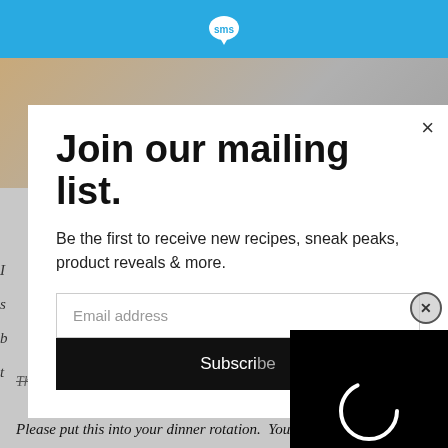[Figure (screenshot): Website screenshot with blue top bar containing SMS logo, background food photo, and modal popup]
Join our mailing list.
Be the first to receive new recipes, sneak peaks, product reveals & more.
Email address
Subscribe
CLOSE
The dream quickly ended.
Please put this into your dinner rotation.  You can thank me